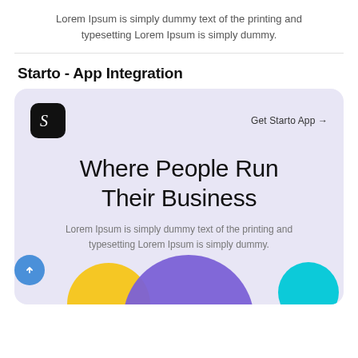Lorem Ipsum is simply dummy text of the printing and typesetting Lorem Ipsum is simply dummy.
Starto - App Integration
[Figure (screenshot): Starto app integration card with lavender background. Shows the Starto 'S' logo in black rounded square, 'Get Starto App →' link top right. Large headline 'Where People Run Their Business'. Subtext 'Lorem Ipsum is simply dummy text of the printing and typesetting Lorem Ipsum is simply dummy.' Decorative circles in purple, yellow, cyan at bottom. Blue scroll-up button bottom left.]